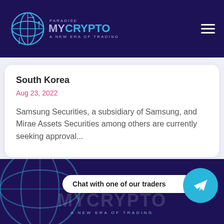MyCrypto Paradise — A New Era of Trading
South Korea
Aug 23, 2022
Samsung Securities, a subsidiary of Samsung, and Mirae Assets Securities among others are currently seeking approval...
Chat with one of our traders